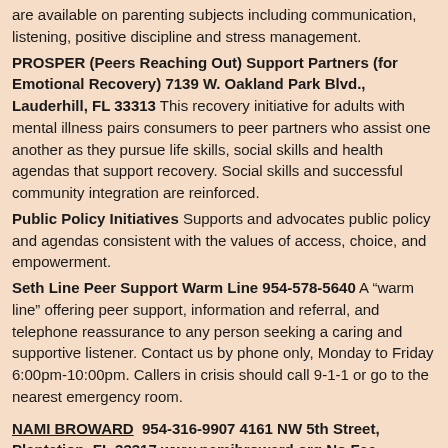are available on parenting subjects including communication, listening, positive discipline and stress management.
PROSPER (Peers Reaching Out) Support Partners (for Emotional Recovery) 7139 W. Oakland Park Blvd., Lauderhill, FL 33313 This recovery initiative for adults with mental illness pairs consumers to peer partners who assist one another as they pursue life skills, social skills and health agendas that support recovery. Social skills and successful community integration are reinforced.
Public Policy Initiatives Supports and advocates public policy and agendas consistent with the values of access, choice, and empowerment.
Seth Line Peer Support Warm Line 954-578-5640 A “warm line” offering peer support, information and referral, and telephone reassurance to any person seeking a caring and supportive listener. Contact us by phone only, Monday to Friday 6:00pm-10:00pm. Callers in crisis should call 9-1-1 or go to the nearest emergency room.
NAMI BROWARD  954-316-9907 4161 NW 5th Street, Plantation, FL 33317 www.namibroward.org No Fee Spanish M-F: 9:00am -